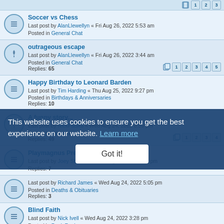Soccer vs Chess — Last post by AlanLlewellyn « Fri Aug 26, 2022 5:53 am — Posted in General Chat
outrageous escape — Last post by AlanLlewellyn « Fri Aug 26, 2022 3:44 am — Posted in General Chat — Replies: 65
Happy Birthday to Leonard Barden — Last post by Tim Harding « Thu Aug 25, 2022 9:27 pm — Posted in Birthdays & Anniversaries — Replies: 10
A funny story... — Last post by NickFaulks « Wed Aug 24, 2022 6:59 pm — Posted in General Chat — Replies: 49
Playmagnus Press Release — Last post by Joey Stewart « Wed Aug 24, 2022 6:56 pm — Replies: 7
— Last post by Richard James « Wed Aug 24, 2022 5:05 pm — Posted in Deaths & Obituaries — Replies: 3
Blind Faith — Last post by Nick Ivell « Wed Aug 24, 2022 3:28 pm — Posted in Book Reviews — Replies: 5
This website uses cookies to ensure you get the best experience on our website. Learn more
Got it!